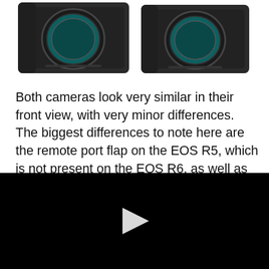[Figure (photo): Two Canon cameras (EOS R5 and EOS R6) shown in front view side by side, displaying their sensor mounts on a white background.]
Both cameras look very similar in their front view, with very minor differences. The biggest differences to note here are the remote port flap on the EOS R5, which is not present on the EOS R6, as well as the all-rubber design, vs partly plastic design of the EOS R6.
When looking at the top of the cameras, however, we
[Figure (screenshot): Black video player overlay with a white play button triangle in the center.]